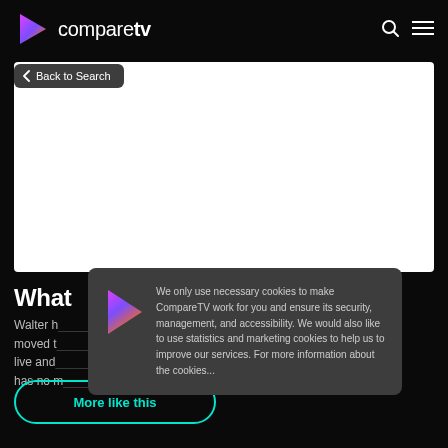comparetv
[Figure (screenshot): White rectangular content/image area below navigation]
< Back to Search
What
Walter h... recently moved t... nts to live and... e and has no m... u how to
[Figure (infographic): Cookie consent overlay with CompareTV logo and text: We only use necessary cookies to make CompareTV work for you and ensure its security, management, and accessibility. We would also like to use statistics and marketing cookies to help us to improve our services. For more information about the cookies...]
More like this